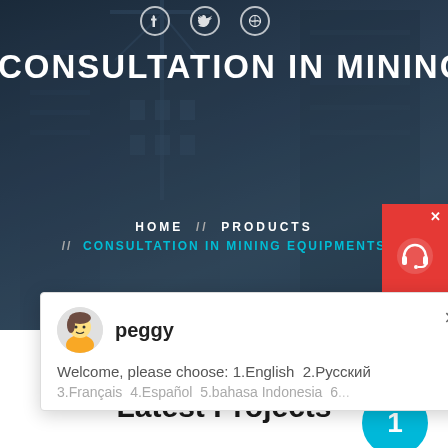[Figure (photo): Hero background photo of construction site with cranes and buildings, dark blue overlay]
CONSULTATION IN MINING EQU
HOME // PRODUCTS // CONSULTATION IN MINING EQUIPMENTS
[Figure (screenshot): Chat popup widget with avatar of 'peggy', showing welcome message: 'Welcome, please choose: 1.English  2.Русский 3.Français  4.Español  5.bahasa Indonesia  6...']
Latest Projects
[Figure (photo): Industrial mining equipment photo showing machinery inside a facility]